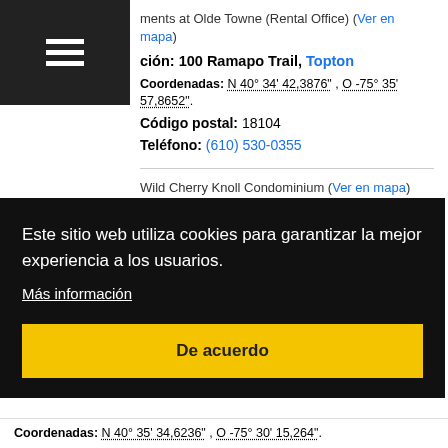ments at Olde Towne (Rental Office) (Ver en mapa)
ción: 100 Ramapo Trail, Topton
Coordenadas: N 40° 34' 42,3876" , O -75° 35' 57,8652".
Código postal: 18104
Teléfono: (610) 530-0355
Wild Cherry Knoll Condominium (Ver en mapa)
Dirección: 2657 Terrwood Drive West, Topton
Coordenadas: N 40° 32' 11,1192" , O -75° 32' 41,5248".
Código postal: 18062-8477
Teléfono: (610) 966-3180
Este sitio web utiliza cookies para garantizar la mejor experiencia a los usuarios. Más información De acuerdo
Coordenadas: N 40° 35' 34,6236" , O -75° 30' 15,264".